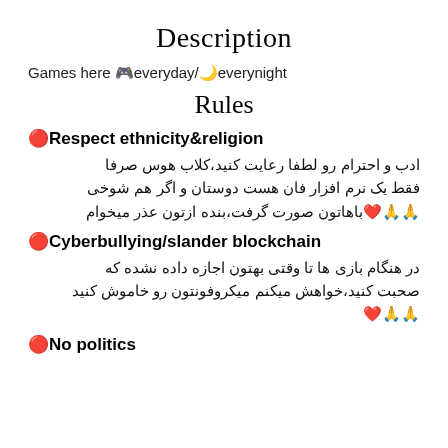Description
Games here 🎮everyday/🌙everynight
Rules
🔴Respect ethnicity&religion
ادب و احترام رو لطفا رعایت کنید،کلاب هوس صرفا فقط یک نرم افزار فان هست دوستان و اگر هم شوخی 🙏🙏❤️باهاتون صورت گرفت،بنده ازتون عذر میخوام
🔴Cyberbullying/slander blockchain
در هنگام بازی ها تا وقتی بهتون اجازه داده نشده که صحبت کنید،خواهش میکنم میکروفونتون رو خاموش کنید 🙏🙏❤️
🔴No politics